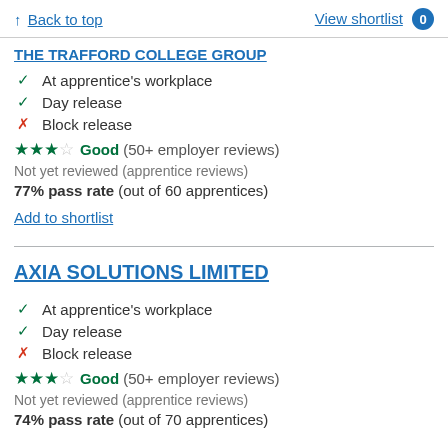↑ Back to top | View shortlist 0
THE TRAFFORD COLLEGE GROUP
✓ At apprentice's workplace
✓ Day release
✗ Block release
★★★☆ Good (50+ employer reviews)
Not yet reviewed (apprentice reviews)
77% pass rate (out of 60 apprentices)
Add to shortlist
AXIA SOLUTIONS LIMITED
✓ At apprentice's workplace
✓ Day release
✗ Block release
★★★☆ Good (50+ employer reviews)
Not yet reviewed (apprentice reviews)
74% pass rate (out of 70 apprentices)